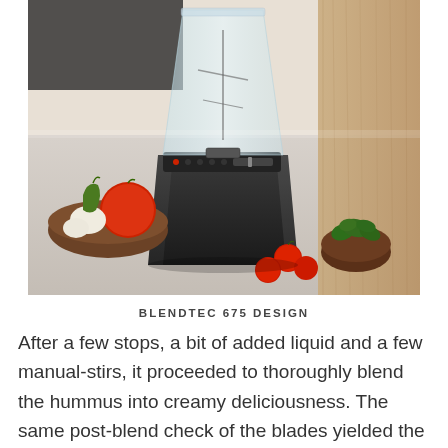[Figure (photo): A black Blendtec 675 Design blender sitting on a kitchen countertop, surrounded by fresh vegetables including tomatoes, garlic, green peppers, cherry tomatoes, and herbs in wooden bowls. Wooden cabinet visible in background.]
BLENDTEC 675 DESIGN
After a few stops, a bit of added liquid and a few manual-stirs, it proceeded to thoroughly blend the hummus into creamy deliciousness. The same post-blend check of the blades yielded the same positive results.